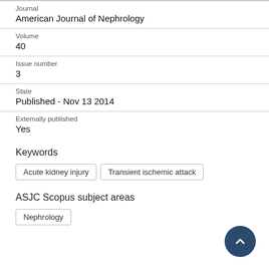Journal
American Journal of Nephrology
Volume
40
Issue number
3
State
Published - Nov 13 2014
Externally published
Yes
Keywords
Acute kidney injury
Transient ischemic attack
ASJC Scopus subject areas
Nephrology